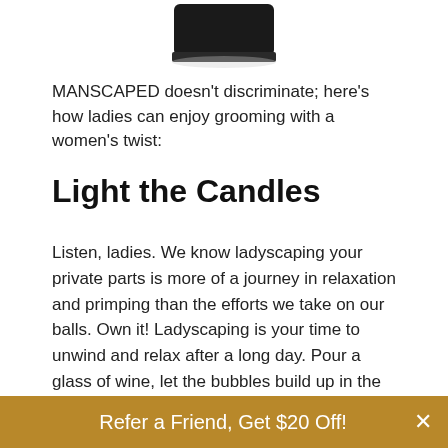[Figure (photo): Partial view of a black cylindrical candle jar/container, bottom portion visible at top of page]
MANSCAPED doesn't discriminate; here's how ladies can enjoy grooming with a women's twist:
Light the Candles
Listen, ladies. We know ladyscaping your private parts is more of a journey in relaxation and primping than the efforts we take on our balls. Own it! Ladyscaping is your time to unwind and relax after a long day. Pour a glass of wine, let the bubbles build up in the bathtub, and start your favorite songs. Now is your time to decompress after a long workday, and we know
Refer a Friend, Get $20 Off!